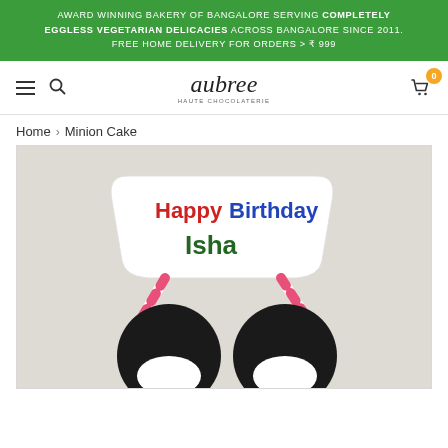AWARD WINNING BAKERY OF BANGALORE SERVING COMPLETELY EGGLESS VEGETARIAN DELICACIES ACROSS BANGALORE SINCE 2011. FREE HOME DELIVERY FOR ORDERS > ₹ 999
[Figure (logo): Aubree Haute Chocolaterie logo in script font with subtitle]
Home > Minion Cake
[Figure (photo): Minion Cake with Happy Birthday Isha banner/topper, showing two minion goggle shapes and candy-striped straw supports on a light background]